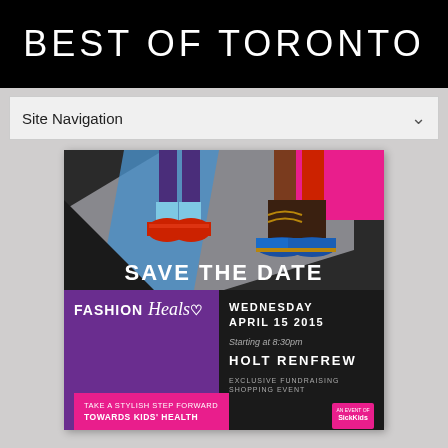BEST OF TORONTO
Site Navigation
[Figure (illustration): Fashion Heals Save the Date flyer for Wednesday April 15 2015 at Holt Renfrew. Features illustrated shoes and boots on a geometric background with SAVE THE DATE text. Purple left panel with Fashion Heals logo, pink bar with 'Take a Stylish Step Forward Towards Kids Health'. Right dark panel with event date, Holt Renfrew, Exclusive Fundraising Shopping Event. SickKids logo in corner. URL fashionheals4sickkids.com at bottom.]